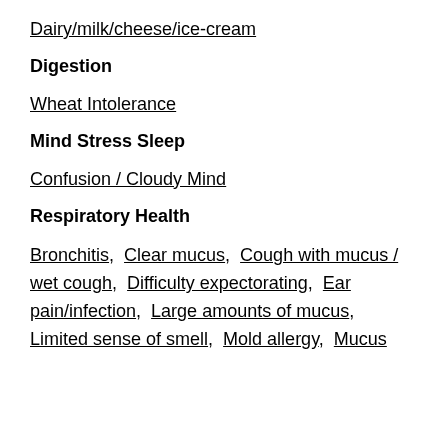Dairy/milk/cheese/ice-cream
Digestion
Wheat Intolerance
Mind Stress Sleep
Confusion / Cloudy Mind
Respiratory Health
Bronchitis,  Clear mucus,  Cough with mucus / wet cough,  Difficulty expectorating,  Ear pain/infection,  Large amounts of mucus,  Limited sense of smell,  Mold allergy,  Mucus